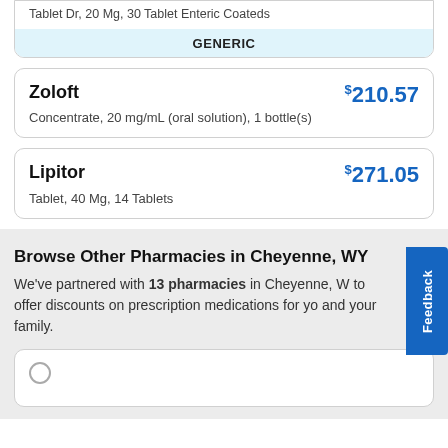Tablet Dr, 20 Mg, 30 Tablet Enteric Coateds
GENERIC
Zoloft — $210.57 — Concentrate, 20 mg/mL (oral solution), 1 bottle(s)
Lipitor — $271.05 — Tablet, 40 Mg, 14 Tablets
Browse Other Pharmacies in Cheyenne, WY
We've partnered with 13 pharmacies in Cheyenne, WY to offer discounts on prescription medications for you and your family.